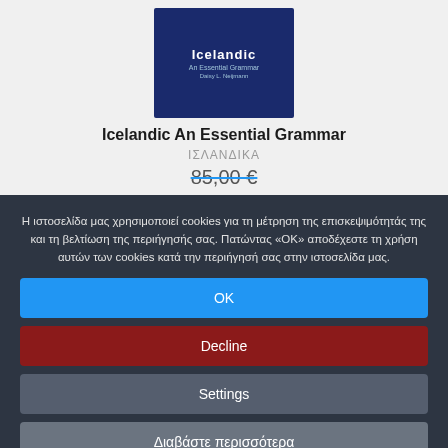[Figure (photo): Book cover of 'Icelandic An Essential Grammar' by Daisy L. Neijmann, Routledge Essential Grammars series, dark blue cover]
Icelandic An Essential Grammar
ΙΣΛΑΝΔΙΚΑ
85,00 €
Η ιστοσελίδα μας χρησιμοποιεί cookies για τη μέτρηση της επισκεψιμότητάς της και τη βελτίωση της περιήγησής σας. Πατώντας «ΟΚ» αποδέχεστε τη χρήση αυτών των cookies κατά την περιήγησή σας στην ιστοσελίδα μας.
OK
Decline
Settings
Διαβάστε περισσότερα